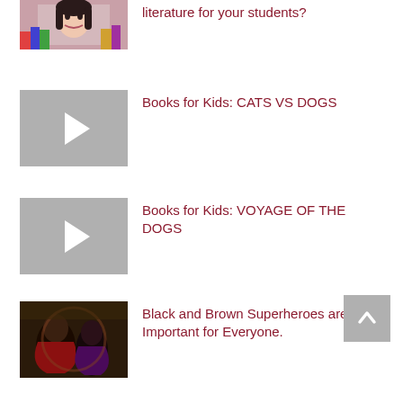[Figure (photo): Partially visible thumbnail of a person, likely a teacher or student, with colorful background]
literature for your students?
[Figure (other): Video play button thumbnail (gray) for Books for Kids: CATS VS DOGS]
Books for Kids: CATS VS DOGS
[Figure (other): Video play button thumbnail (gray) for Books for Kids: VOYAGE OF THE DOGS]
Books for Kids: VOYAGE OF THE DOGS
[Figure (photo): Thumbnail image of Black and Brown Superheroes with dark tones]
Black and Brown Superheroes are Important for Everyone.